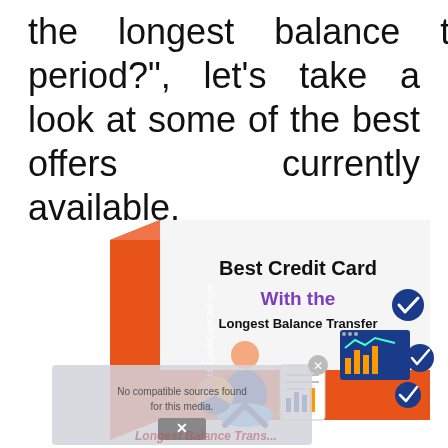the longest balance transfer period?", let's take a look at some of the best offers currently available.
[Figure (illustration): A product box illustration for 'Best Credit Card With the Longest Balance Transfer' from MyCreditCardClub.com, showing a person at a computer surrounded by financial icons and check marks, with an orange and white box design. Overlaid with a video player error message 'No compatible sources found for this media' with an X button.]